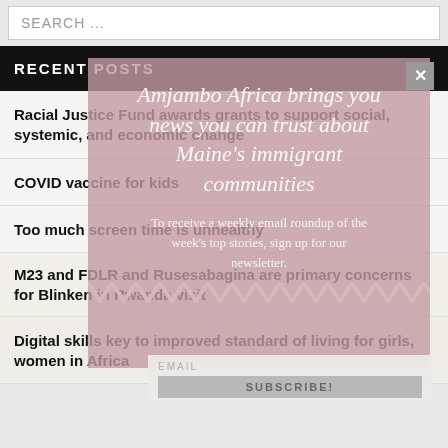SEARCH ...
RECENT POSTS
Racial Justice Fund awards grants to support social, systemic, and economic change
COVID vaccine for kids
Too much screen time is unhealthy
M23 and FDLR and Rusesabagina are primary concerns for Blinken in Rwanda visit
Digital skills key to improved standard of living for girls, women in Africa
[Figure (screenshot): Pink overlay popup with italic serif text: 'Amjambo Africa brings you news you can trust about Maine's immigrant communities' and subtext 'To receive a weekly email roundup of the week's top stories, sign up for our newsletter.' with email subscription form and SUBSCRIBE! button at bottom. Close X button in top right corner.]